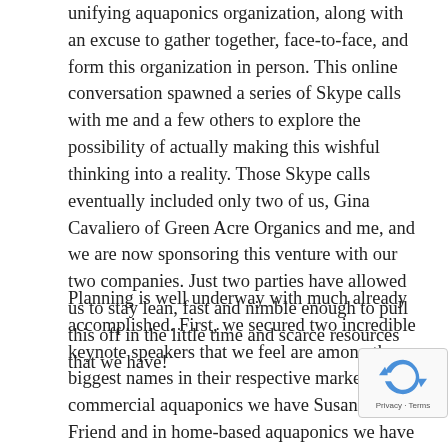unifying aquaponics organization, along with an excuse to gather together, face-to-face, and form this organization in person. This online conversation spawned a series of Skype calls with me and a few others to explore the possibility of actually making this wishful thinking into a reality. Those Skype calls eventually included only two of us, Gina Cavaliero of Green Acre Organics and me, and we are now sponsoring this venture with our two companies. Just two parties have allowed us to stay lean, fast and nimble enough to pull this off in the little time and scarce resources that we have!
Planning is well underway with much already accomplished. First, we secured two incredible keynote speakers that we feel are among the biggest names in their respective markets. In commercial aquaponics we have Susanne Friend and in home-based aquaponics we have Murray Hallam. Next, we decided on a location in Florida and like so much during for this first...